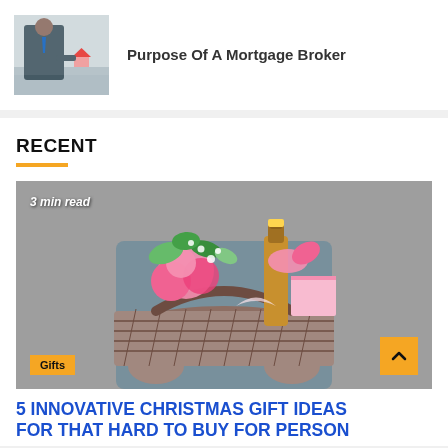[Figure (photo): Photo of a person in a suit holding a small house model at a desk — mortgage broker illustration]
Purpose Of A Mortgage Broker
RECENT
[Figure (photo): Photo of a person holding a wicker gift basket filled with flowers and a wine bottle wrapped in pink ribbon. Badge: '3 min read'. Category badge: 'Gifts'.]
5 INNOVATIVE CHRISTMAS GIFT IDEAS FOR THAT HARD TO BUY FOR PERSON